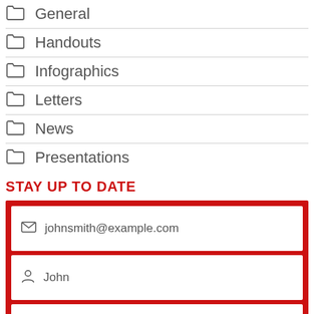General
Handouts
Infographics
Letters
News
Presentations
STAY UP TO DATE
[Figure (screenshot): Email signup form with fields for email (johnsmith@example.com), first name (John), last name (Smith), and a Submit button. Form has a red border/background.]